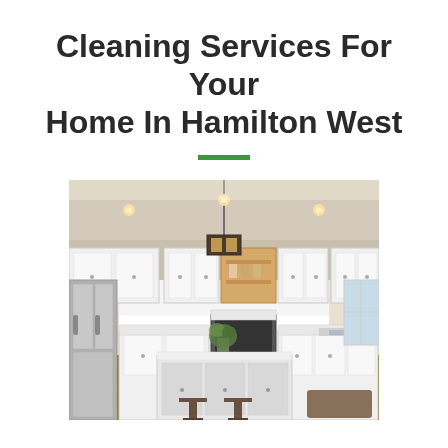Cleaning Services For Your Home In Hamilton West
[Figure (photo): A bright, modern kitchen with white shaker cabinets, a large center island with two bar stools, stainless steel appliances including a refrigerator on the left, a pendant light fixture hanging from the ceiling, and a vase of green plants on the island. The floor is hardwood and there is a window on the right side.]